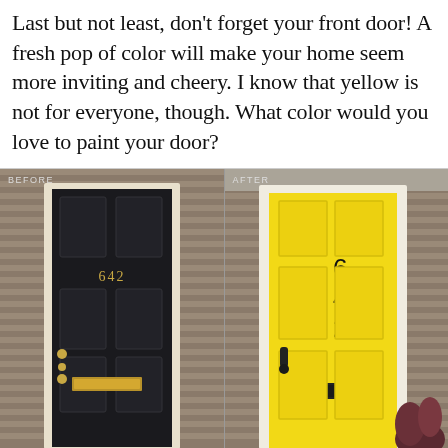Last but not least, don't forget your front door! A fresh pop of color will make your home seem more inviting and cheery. I know that yellow is not for everyone, though. What color would you love to paint your door?
[Figure (photo): Before and after comparison of a front door. BEFORE: a dark black painted door with gold hardware and brass mail slot, house number 642 in gold. AFTER: the same door repainted bright yellow with black hardware and black mail slot, house number 642 in vertical black modern numerals.]